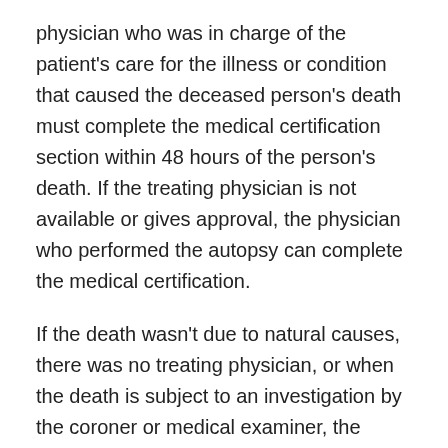physician who was in charge of the patient's care for the illness or condition that caused the deceased person's death must complete the medical certification section within 48 hours of the person's death. If the treating physician is not available or gives approval, the physician who performed the autopsy can complete the medical certification.
If the death wasn't due to natural causes, there was no treating physician, or when the death is subject to an investigation by the coroner or medical examiner, the coroner or medical examiner completes the medical certification. (410 ILCS 535/18.)
Is embalming required in Illinois?